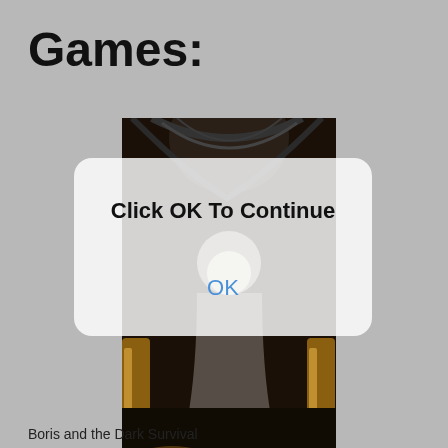Games:
[Figure (screenshot): Dark sci-fi or horror game screenshot showing a shadowy figure with glowing elements in a dark industrial environment. A semi-transparent dialog box overlays the image with text 'Click OK To Continue' and an 'OK' button.]
Boris and the Dark Survival